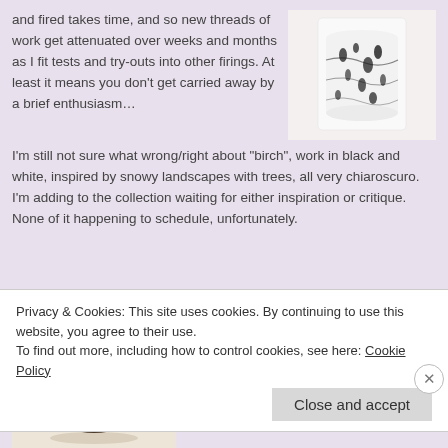and fired takes time, and so new threads of work get attenuated over weeks and months as I fit tests and try-outs into other firings. At least it means you don't get carried away by a brief enthusiasm… I'm still not sure what wrong/right about "birch", work in black and white, inspired by snowy landscapes with trees, all very chiaroscuro. I'm adding to the collection waiting for either inspiration or critique. None of it happening to schedule, unfortunately.
[Figure (photo): A ceramic vessel with black and white pattern resembling birch tree bark, on a white background.]
[Figure (photo): A dark brown/grey ceramic libation cup with textured blackthorn pattern, flared at the top, on a light background.]
Even my 'playing about', an attempt to un-block thinking, has been going wrong. The blackthorn/libation cups certainly haven't been improved by this black glaze, partly though as it's a bit underfired, a side effect of the normal
Privacy & Cookies: This site uses cookies. By continuing to use this website, you agree to their use.
To find out more, including how to control cookies, see here: Cookie Policy
Close and accept